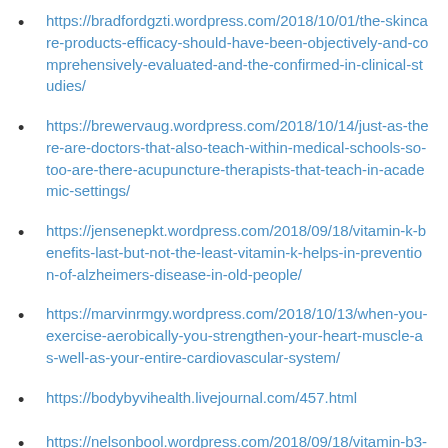https://bradfordgzti.wordpress.com/2018/10/01/the-skincare-products-efficacy-should-have-been-objectively-and-comprehensively-evaluated-and-the-confirmed-in-clinical-studies/
https://brewervaug.wordpress.com/2018/10/14/just-as-there-are-doctors-that-also-teach-within-medical-schools-so-too-are-there-acupuncture-therapists-that-teach-in-academic-settings/
https://jensenepkt.wordpress.com/2018/09/18/vitamin-k-benefits-last-but-not-the-least-vitamin-k-helps-in-prevention-of-alzheimers-disease-in-old-people/
https://marvinrmgy.wordpress.com/2018/10/13/when-you-exercise-aerobically-you-strengthen-your-heart-muscle-as-well-as-your-entire-cardiovascular-system/
https://bodybyvihealth.livejournal.com/457.html
https://nelsonbool.wordpress.com/2018/09/18/vitamin-b3-also-known-as-niacin-enhances-scalp-circulation-fish-beef-chicken